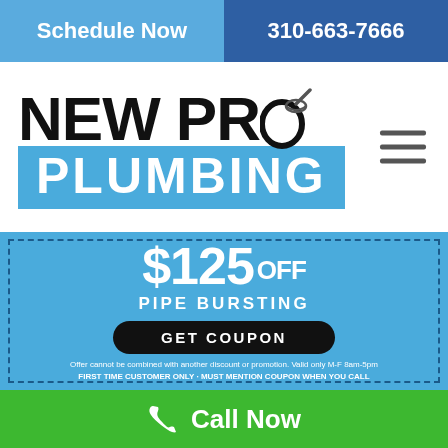Schedule Now | 310-663-7666
[Figure (logo): New Pro Plumbing company logo with stylized plunger replacing the O in PRO, blue rectangle behind PLUMBING text]
[Figure (infographic): Blue coupon offering $125 OFF Pipe Bursting with GET COUPON button and fine print]
Offer cannot be combined with another discount or promotion. Valid only M-F 8am-5pm FIRST TIME CUSTOMER ONLY - MUST MENTION COUPON WHEN YOU CALL
[Figure (photo): Partial photo of a woman with dark hair in the lower right corner]
Call Now